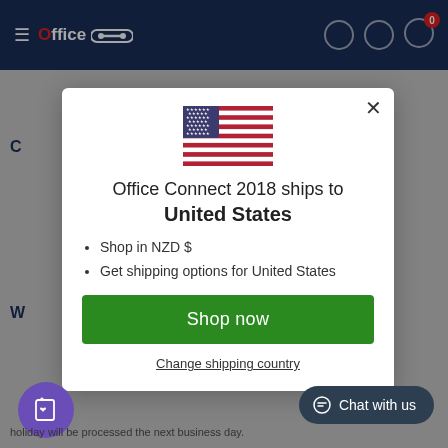Office Connect 2018 - Navigation bar
[Figure (screenshot): Modal dialog showing US flag and shipping information for Office Connect 2018 website]
Office Connect 2018 ships to United States
Shop in NZD $
Get shipping options for United States
Shop now
Change shipping country
Chat with us
holiday will be processed the next business day.